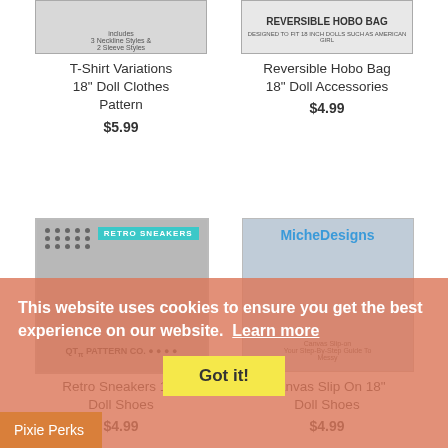[Figure (photo): T-Shirt Variations pattern cover image, top portion visible]
[Figure (photo): Reversible Hobo Bag pattern cover image showing bag]
T-Shirt Variations
18" Doll Clothes
Pattern
$5.99
Reversible Hobo Bag
18" Doll Accessories
$4.99
[Figure (photo): Retro Sneakers 18" Doll Shoes pattern cover from QT Pi Pattern Co.]
[Figure (photo): Canvas Slip On 18" Doll Shoes pattern cover from MicheDesigns]
Retro Sneakers 18"
Doll Shoes
$4.99
Canvas Slip On 18"
Doll Shoes
$4.99
This website uses cookies to ensure you get the best experience on our website. Learn more
Got it!
Pixie Perks